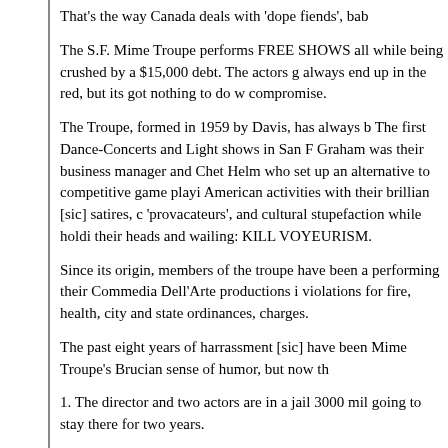That's the way Canada deals with 'dope fiends', bab
The S.F. Mime Troupe performs FREE SHOWS all while being crushed by a $15,000 debt. The actors g always end up in the red, but its got nothing to do w compromise.
The Troupe, formed in 1959 by Davis, has always b The first Dance-Concerts and Light shows in San F Graham was their business manager and Chet Helm who set up an alternative to competitive game playi American activities with their brillian [sic] satires, c 'provacateurs', and cultural stupefaction while holdi their heads and wailing: KILL VOYEURISM.
Since its origin, members of the troupe have been a performing their Commedia Dell'Arte productions i violations for fire, health, city and state ordinances, charges.
The past eight years of harrassment [sic] have been Mime Troupe's Brucian sense of humor, but now th
1. The director and two actors are in a jail 3000 mil going to stay there for two years.